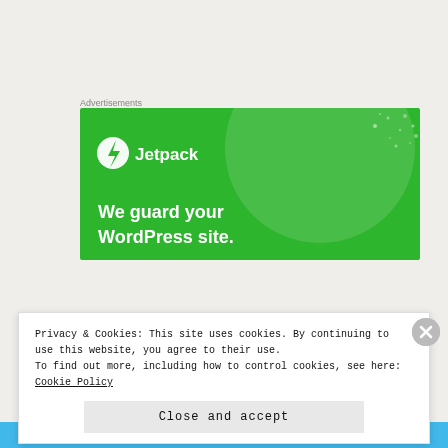Advertisements
[Figure (illustration): Jetpack advertisement banner with green background showing a large semi-transparent circle, sparkle dots, Jetpack logo (lightning bolt in circle) and text 'We guard your WordPress site.']
Privacy & Cookies: This site uses cookies. By continuing to use this website, you agree to their use.
To find out more, including how to control cookies, see here:
Cookie Policy
Close and accept